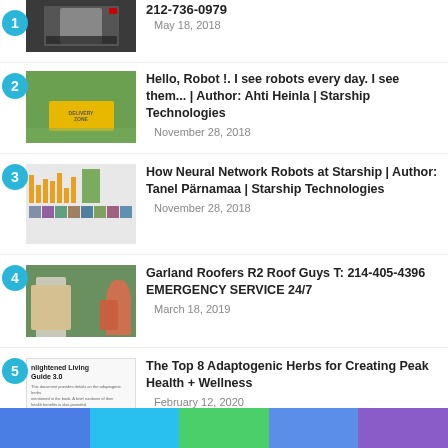212-736-0979
May 18, 2018
Hello, Robot !. I see robots every day. I see them... | Author: Ahti Heinla | Starship Technologies
November 28, 2018
How Neural Network Robots at Starship | Author: Tanel Pärnamaa | Starship Technologies
November 28, 2018
Garland Roofers R2 Roof Guys T: 214-405-4396 EMERGENCY SERVICE 24/7
March 18, 2019
The Top 8 Adaptogenic Herbs for Creating Peak Health + Wellness
February 12, 2020